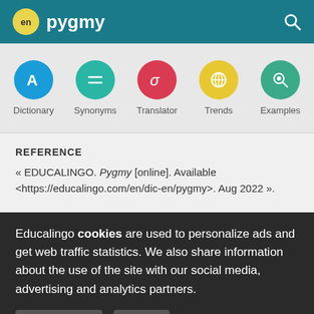en pygmy
[Figure (screenshot): Navigation icons row: Dictionary (blue circle with A), Synonyms (teal circle with equals), Translator (red circle with sigma), Trends (yellow circle with globe), Examples (green circle with magnifier)]
REFERENCE
« EDUCALINGO. Pygmy [online]. Available <https://educalingo.com/en/dic-en/pygmy>. Aug 2022 ».
Educalingo cookies are used to personalize ads and get web traffic statistics. We also share information about the use of the site with our social media, advertising and analytics partners.
View details   Got it